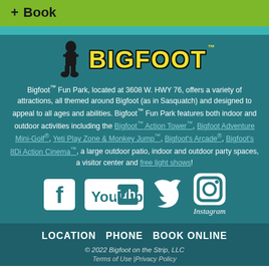+ Book
[Figure (logo): Bigfoot Fun Park logo with Bigfoot silhouette and stylized BIGFOOT text in yellow with black outline]
Bigfoot™ Fun Park, located at 3608 W. HWY 76, offers a variety of attractions, all themed around Bigfoot (as in Sasquatch) and designed to appeal to all ages and abilities. Bigfoot™ Fun Park features both indoor and outdoor activities including the Bigfoot™ Action Tower™, Bigfoot Adventure Mini-Golf®, Yeti Play Zone & Monkey Jump™, Bigfoot's Arcade®, Bigfoot's 8Di Action Cinema™, a large outdoor patio, indoor and outdoor party spaces, a visitor center and free light shows!
[Figure (infographic): Social media icons row: Facebook, YouTube, Twitter, Instagram]
LOCATION  PHONE  BOOK ONLINE
© 2022 Bigfoot on the Strip, LLC
Terms of Use |Privacy Policy